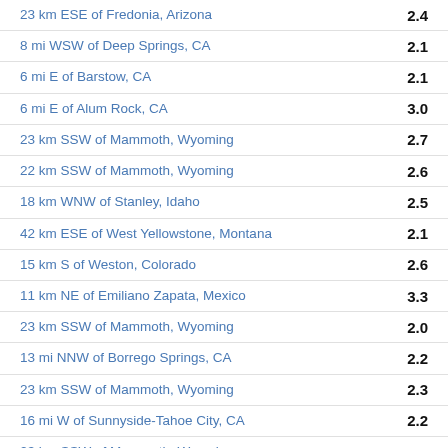| Location | Magnitude |
| --- | --- |
| 23 km ESE of Fredonia, Arizona | 2.4 |
| 8 mi WSW of Deep Springs, CA | 2.1 |
| 6 mi E of Barstow, CA | 2.1 |
| 6 mi E of Alum Rock, CA | 3.0 |
| 23 km SSW of Mammoth, Wyoming | 2.7 |
| 22 km SSW of Mammoth, Wyoming | 2.6 |
| 18 km WNW of Stanley, Idaho | 2.5 |
| 42 km ESE of West Yellowstone, Montana | 2.1 |
| 15 km S of Weston, Colorado | 2.6 |
| 11 km NE of Emiliano Zapata, Mexico | 3.3 |
| 23 km SSW of Mammoth, Wyoming | 2.0 |
| 13 mi NNW of Borrego Springs, CA | 2.2 |
| 23 km SSW of Mammoth, Wyoming | 2.3 |
| 16 mi W of Sunnyside-Tahoe City, CA | 2.2 |
| 23 km SSW of Mammoth, Wyoming | 3.0 |
| 23 km SSW of Mammoth, Wyoming | 2.1 |
| 23 km SSW of Mammoth, Wyoming | 2.1 |
| 5 km ENE of Pullman, Washington | 2.4 |
| 92 mi SSE of Estacion Coahuila, B.C., MX | 3.2 |